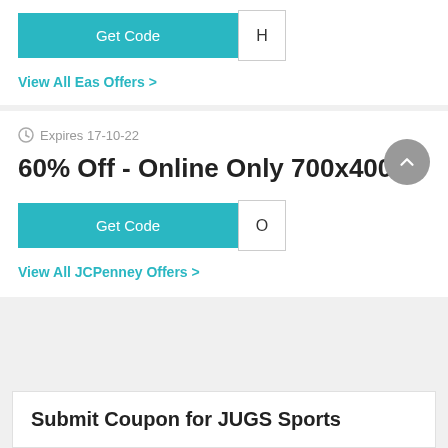[Figure (screenshot): Get Code button (teal) with partial code reveal showing 'H']
View All Eas Offers >
Expires 17-10-22
60% Off - Online Only 700x400
[Figure (screenshot): Get Code button (teal) with partial code reveal showing 'O']
View All JCPenney Offers >
Submit Coupon for JUGS Sports